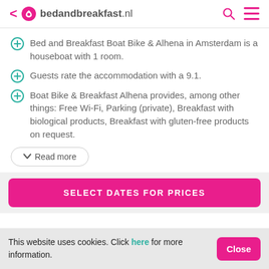bedandbreakfast.nl
Bed and Breakfast Boat Bike & Alhena in Amsterdam is a houseboat with 1 room.
Guests rate the accommodation with a 9.1.
Boat Bike & Breakfast Alhena provides, among other things: Free Wi-Fi, Parking (private), Breakfast with biological products, Breakfast with gluten-free products on request.
Read more
SELECT DATES FOR PRICES
This website uses cookies. Click here for more information.